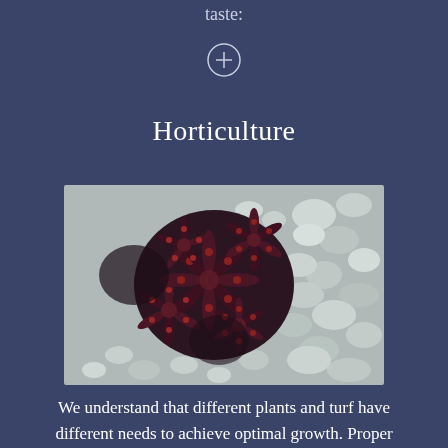taste:
[Figure (other): Circle with plus sign icon]
Horticulture
[Figure (photo): Overhead view of dark reddish-purple succulent or star-shaped plant clusters surrounded by white and grey pebbles/gravel]
We understand that different plants and turf have different needs to achieve optimal growth. Proper